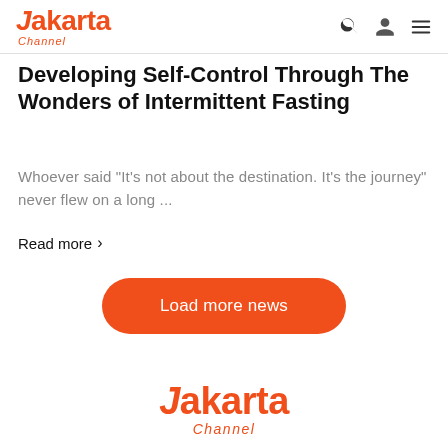Jakarta Channel
Developing Self-Control Through The Wonders of Intermittent Fasting
Whoever said “It’s not about the destination. It’s the journey” never flew on a long ...
Read more >
Load more news
[Figure (logo): Jakarta Channel footer logo in orange color]